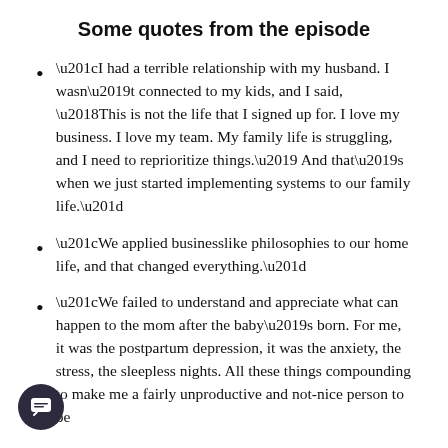Some quotes from the episode
“I had a terrible relationship with my husband. I wasn’t connected to my kids, and I said, ‘This is not the life that I signed up for. I love my business. I love my team. My family life is struggling, and I need to reprioritize things.’ And that’s when we just started implementing systems to our family life.”
“We applied businesslike philosophies to our home life, and that changed everything.”
“We failed to understand and appreciate what can happen to the mom after the baby’s born. For me, it was the postpartum depression, it was the anxiety, the stress, the sleepless nights. All these things compounding to make me a fairly unproductive and not-nice person to be